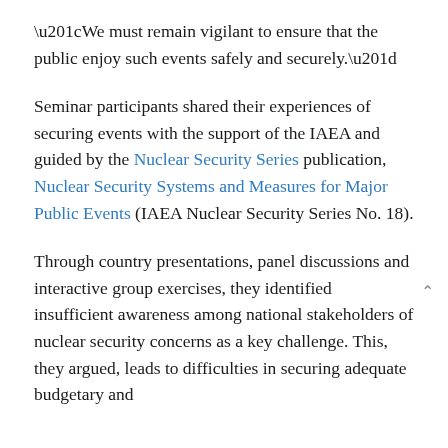“We must remain vigilant to ensure that the public enjoy such events safely and securely.”
Seminar participants shared their experiences of securing events with the support of the IAEA and guided by the Nuclear Security Series publication, Nuclear Security Systems and Measures for Major Public Events (IAEA Nuclear Security Series No. 18).
Through country presentations, panel discussions and interactive group exercises, they identified insufficient awareness among national stakeholders of nuclear security concerns as a key challenge. This, they argued, leads to difficulties in securing adequate budgetary and